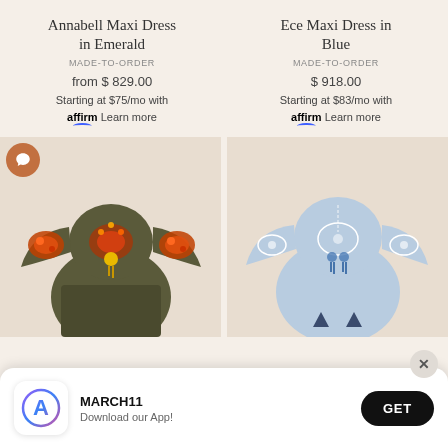Annabell Maxi Dress in Emerald
MADE-TO-ORDER
from $ 829.00
Starting at $75/mo with affirm Learn more
Ece Maxi Dress in Blue
MADE-TO-ORDER
$ 918.00
Starting at $83/mo with affirm Learn more
[Figure (photo): Annabell Maxi Dress in Emerald — dark olive/khaki dress with colorful orange and red embroidered floral/paisley pattern on sleeves and chest, yellow tassel detail]
[Figure (photo): Ece Maxi Dress in Blue — light blue denim-style dress with white embroidery and blue tassel details on chest and sleeves]
MARCH11
Download our App!
GET